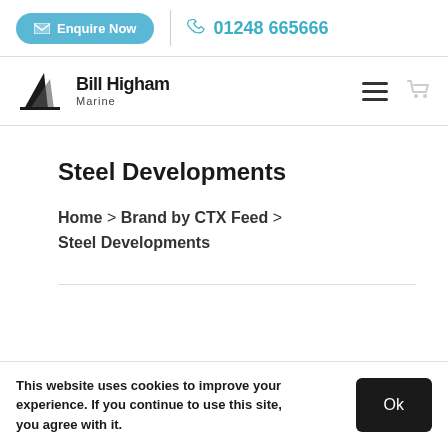Enquire Now | 01248 665666
[Figure (logo): Bill Higham Marine logo with stylized sail/hull icon]
Steel Developments
Home > Brand by CTX Feed > Steel Developments
This website uses cookies to improve your experience. If you continue to use this site, you agree with it.